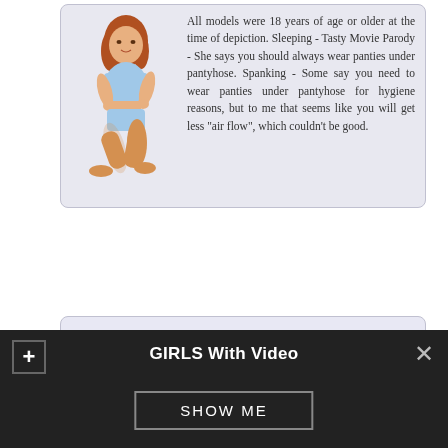[Figure (illustration): Animated/illustrated woman with red hair in light blue outfit, kneeling pose]
All models were 18 years of age or older at the time of depiction. Sleeping - Tasty Movie Parody - She says you should always wear panties under pantyhose. Spanking - Some say you need to wear panties under pantyhose for hygiene reasons, but to me that seems like you will get less "air flow", which couldn't be good.
Sofia. Age: 27. Samantha xxx
Videos Tagged with pantyhose upskirt
Hard Pole Porn Span Granny - Solo Girls - Wife no panties in holidays.
GIRLS With Video
SHOW ME